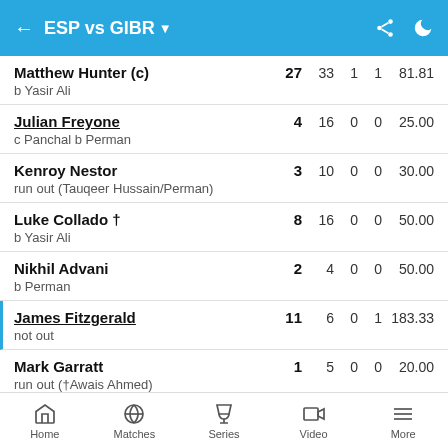ESP vs GIBR
| Batsman | R | B | 4s | 6s | SR |
| --- | --- | --- | --- | --- | --- |
| Matthew Hunter (c) / b Yasir Ali | 27 | 33 | 1 | 1 | 81.81 |
| Julian Freyone / c Panchal b Perman | 4 | 16 | 0 | 0 | 25.00 |
| Kenroy Nestor / run out (Tauqeer Hussain/Perman) | 3 | 10 | 0 | 0 | 30.00 |
| Luke Collado † / b Yasir Ali | 8 | 16 | 0 | 0 | 50.00 |
| Nikhil Advani / b Perman | 2 | 4 | 0 | 0 | 50.00 |
| James Fitzgerald / not out | 11 | 6 | 0 | 1 | 183.33 |
| Mark Garratt / run out (†Awais Ahmed) | 1 | 5 | 0 | 0 | 20.00 |
Home  Matches  Series  Video  More